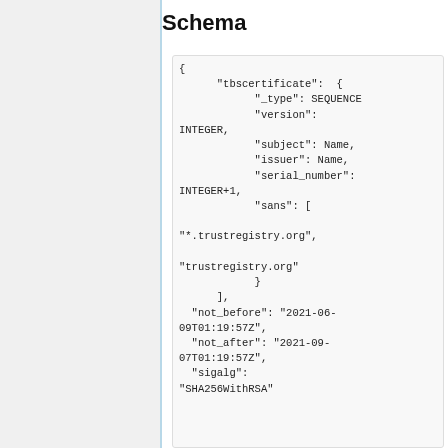Schema
{
      "tbscertificate":  {
            "_type": SEQUENCE
            "version":
INTEGER,
            "subject": Name,
            "issuer": Name,
            "serial_number":
INTEGER+1,
            "sans": [

"*.trustregistry.org",

"trustregistry.org"
            }
      ],
  "not_before": "2021-06-09T01:19:57Z",
  "not_after": "2021-09-07T01:19:57Z",
  "sigalg":
"SHA256WithRSA"